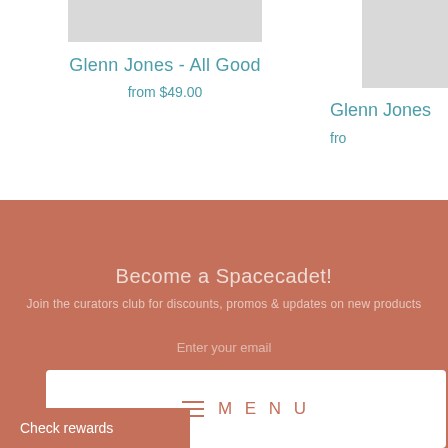[Figure (photo): Product image placeholder grey rectangle for Glenn Jones - All Good]
Glenn Jones - All Good
from $49.00
[Figure (photo): Partial product image placeholder grey rectangle for Glenn Jones second product]
Glenn Jones
fro
Become a Spacecadet!
Join the curators club for discounts, promos & updates on new products
Enter your email
≡  M E N U
Check rewards